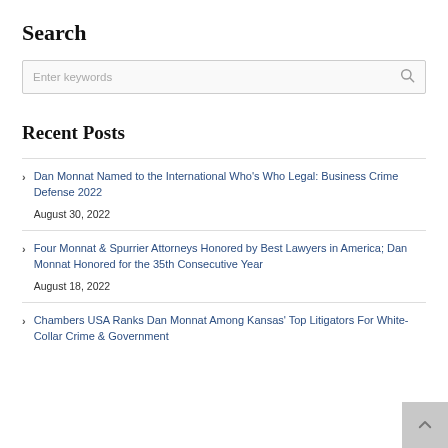Search
Enter keywords
Recent Posts
Dan Monnat Named to the International Who’s Who Legal: Business Crime Defense 2022
August 30, 2022
Four Monnat & Spurrier Attorneys Honored by Best Lawyers in America; Dan Monnat Honored for the 35th Consecutive Year
August 18, 2022
Chambers USA Ranks Dan Monnat Among Kansas’ Top Litigators For White-Collar Crime & Government